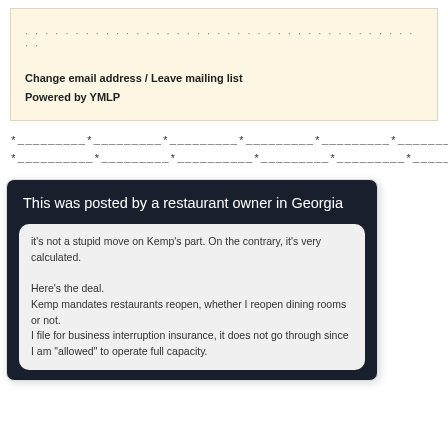· · · · · · · · · · · · · · · · · · · · · · · · · · · · · · · · · · · · · · · · · ·
Change email address / Leave mailing list
Powered by YMLP
*_________*_________*_________*_________*_________*_________*
*__________*_________*__________*_________*_________*_________*
[Figure (screenshot): Screenshot of a social media post with dark background. Title reads 'This was posted by a restaurant owner in Georgia'. Post text reads: it's not a stupid move on Kemp's part. On the contrary, it's very calculated. Here's the deal. Kemp mandates restaurants reopen, whether I reopen dining rooms or not. I file for business interruption insurance, it does not go through since I am "allowed" to operate full capacity.]